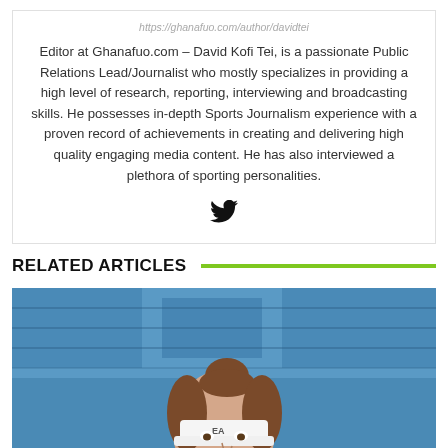https://ghanafuo.com/author/davidtei
Editor at Ghanafuo.com – David Kofi Tei, is a passionate Public Relations Lead/Journalist who mostly specializes in providing a high level of research, reporting, interviewing and broadcasting skills. He possesses in-depth Sports Journalism experience with a proven record of achievements in creating and delivering high quality engaging media content. He has also interviewed a plethora of sporting personalities.
[Figure (illustration): Twitter bird icon]
RELATED ARTICLES
[Figure (photo): Photo of a female tennis player wearing a white EA Sports visor, with blue stadium seating in the background]